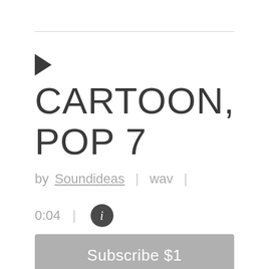CARTOON, POP 7
by Soundideas | wav | 0:04 |
Subscribe $1
Add to Cart